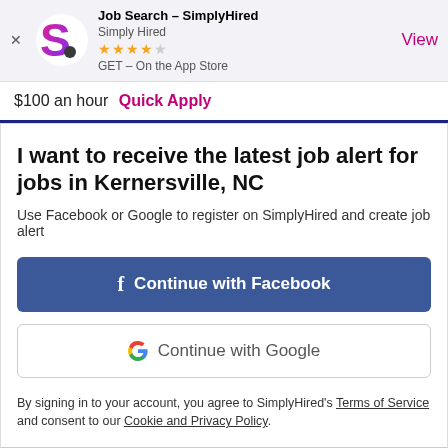[Figure (screenshot): App install banner for Job Search - SimplyHired app on iOS App Store, showing logo, star rating (4 out of 5), and a View button]
$100 an hour  Quick Apply
I want to receive the latest job alert for jobs in Kernersville, NC
Use Facebook or Google to register on SimplyHired and create job alert
[Figure (other): Continue with Facebook button]
[Figure (other): Continue with Google button]
By signing in to your account, you agree to SimplyHired's Terms of Service and consent to our Cookie and Privacy Policy.
Cashier
Walmart – Kernersville, NC  3.4★